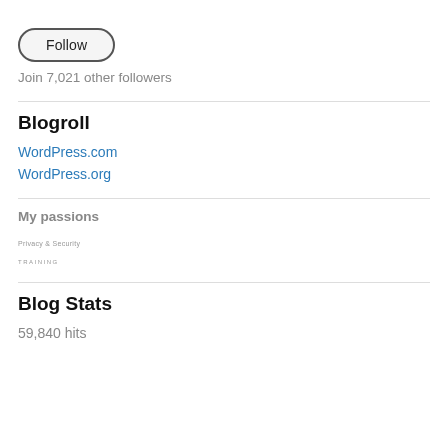[Figure (other): Follow button — rounded pill-shaped button with border and label 'Follow']
Join 7,021 other followers
Blogroll
WordPress.com
WordPress.org
My passions
[Figure (logo): Small logo/wordmark image — tiny text logo placeholder]
Blog Stats
59,840 hits